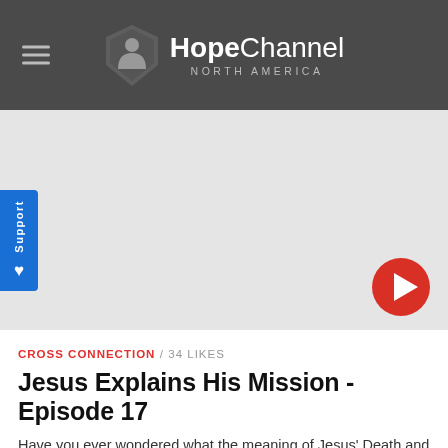Hope Channel North America
[Figure (screenshot): Video thumbnail area with light gray background and a red circular play button in the lower right corner. A blue 'Support' tab with a heart icon is on the left side.]
CROSS CONNECTION / 34 LIKES
Jesus Explains His Mission - Episode 17
Have you ever wondered what the meaning of Jesus' Death and Resurrection is? What did Jesus have to say about it? On the season finale of CC, the group looks to John 12 to learn his incredible, life-changing explanation of his mission!